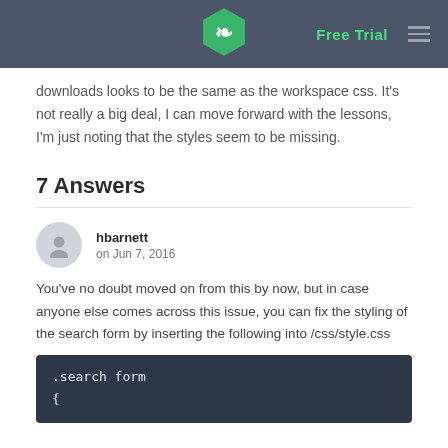Free Trial
downloads looks to be the same as the workspace css. It's not really a big deal, I can move forward with the lessons, I'm just noting that the styles seem to be missing.
7 Answers
hbarnett
on Jun 7, 2016
You've no doubt moved on from this by now, but in case anyone else comes across this issue, you can fix the styling of the search form by inserting the following into /css/style.css
.search form
{